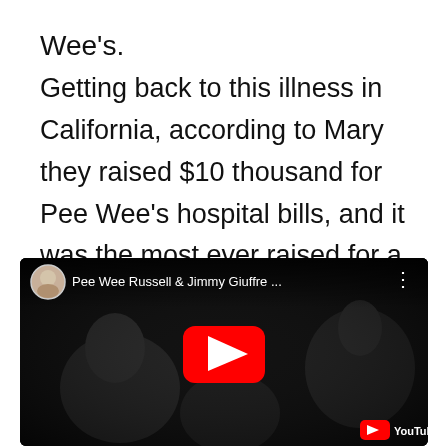Wee's.
Getting back to this illness in California, according to Mary they raised $10 thousand for Pee Wee's hospital bills, and it was the most ever raised for a jazz musician, and it took all of it to keep him alive.
[Figure (screenshot): Embedded YouTube video thumbnail showing black and white footage of jazz musicians playing. The video is titled 'Pee Wee Russell & Jimmy Giuffre...' with a red play button in the center and YouTube logo in the bottom right corner.]